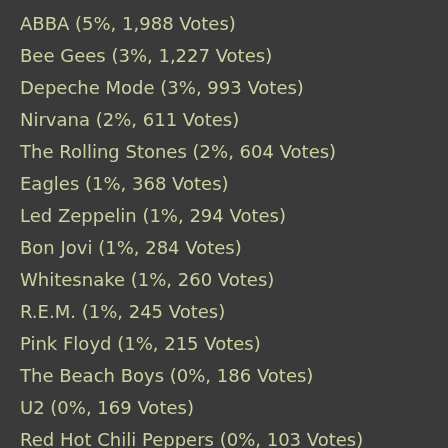ABBA (5%, 1,988 Votes)
Bee Gees (3%, 1,227 Votes)
Depeche Mode (3%, 993 Votes)
Nirvana (2%, 611 Votes)
The Rolling Stones (2%, 604 Votes)
Eagles (1%, 368 Votes)
Led Zeppelin (1%, 294 Votes)
Bon Jovi (1%, 284 Votes)
Whitesnake (1%, 260 Votes)
R.E.M. (1%, 245 Votes)
Pink Floyd (1%, 215 Votes)
The Beach Boys (0%, 186 Votes)
U2 (0%, 169 Votes)
Red Hot Chili Peppers (0%, 103 Votes)
Boney M (0%, 92 Votes)
Modern Talking (0%, 65 Votes)
AC/DC (0%, 59 Votes)
Roxette (0%, 56 Votes)
Black Sabbath (0%, 51 Votes)
Smokie (0%, 26 Votes)
Deep Purple (0%, 24 Votes)
The Police (0%, 18 Votes)